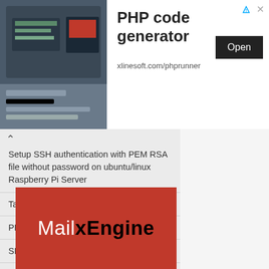[Figure (infographic): Advertisement banner with photo of person using tablet on left, PHP code generator heading, xlinesoft.com/phprunner domain, and Open button]
Setup SSH authentication with PEM RSA file without password on ubuntu/linux Raspberry Pi Server
Table of Contents
PHP Email Verification Script.
SEO Friendly URLs with PHP
[Figure (logo): MailxEngine logo on red background with white and black text]